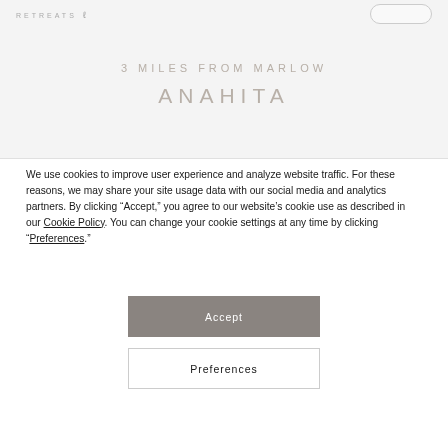RETREATS
3 MILES FROM MARLOW
ANAHITA
We use cookies to improve user experience and analyze website traffic. For these reasons, we may share your site usage data with our social media and analytics partners. By clicking “Accept,” you agree to our website’s cookie use as described in our Cookie Policy. You can change your cookie settings at any time by clicking “Preferences.”
Accept
Preferences